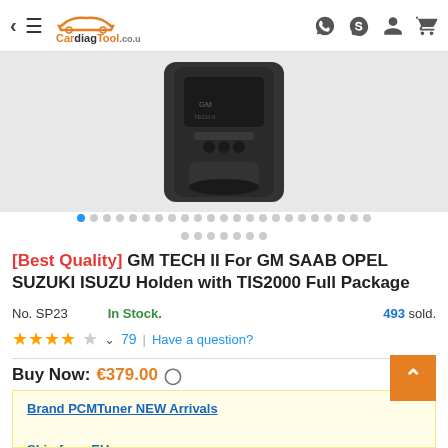CardiagTool.co.uk
[Figure (photo): Product image of GM TECH II diagnostic tool on grey background]
[Best Quality] GM TECH II For GM SAAB OPEL SUZUKI ISUZU Holden with TIS2000 Full Package
No. SP23   In Stock.   493 sold.
★★★★☆  79  |  Have a question?
Buy Now: €379.00
Brand PCMTuner NEW Arrivals
Ship from EU
Ship from UK
Pls Contact us for The Best Price:
Email:sales@cardiagtool.co.uk